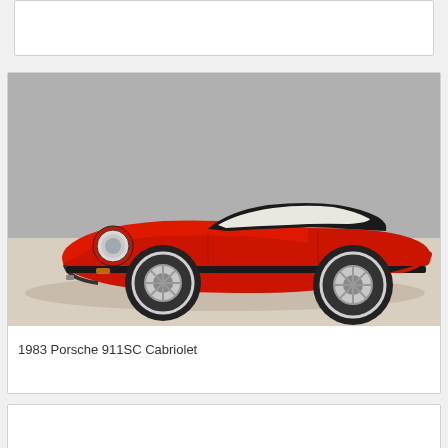1966 Porsche 912
[Figure (photo): Red 1983 Porsche 911SC Cabriolet convertible with black soft top, white interior, photographed in a studio setting on a light beige floor against a grey background. Side profile view showing the car's right side.]
1983 Porsche 911SC Cabriolet